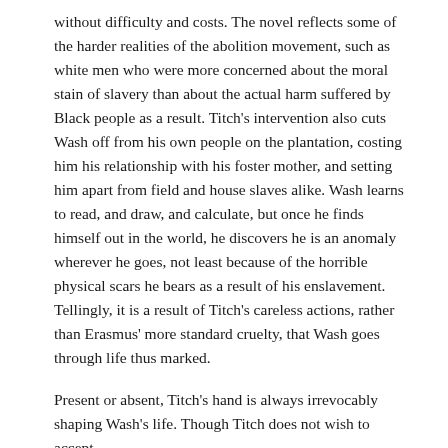without difficulty and costs. The novel reflects some of the harder realities of the abolition movement, such as white men who were more concerned about the moral stain of slavery than about the actual harm suffered by Black people as a result. Titch's intervention also cuts Wash off from his own people on the plantation, costing him his relationship with his foster mother, and setting him apart from field and house slaves alike. Wash learns to read, and draw, and calculate, but once he finds himself out in the world, he discovers he is an anomaly wherever he goes, not least because of the horrible physical scars he bears as a result of his enslavement. Tellingly, it is a result of Titch's careless actions, rather than Erasmus' more standard cruelty, that Wash goes through life thus marked.
Present or absent, Titch's hand is always irrevocably shaping Wash's life. Though Titch does not wish to accept